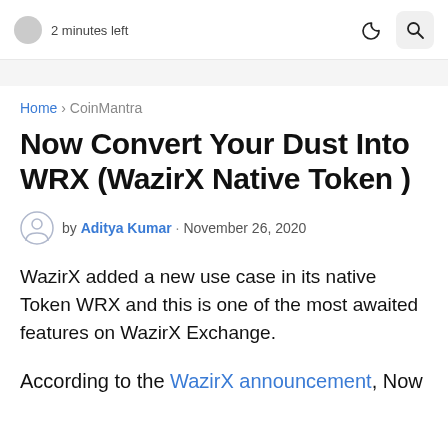2 minutes left
Home › CoinMantra
Now Convert Your Dust Into WRX (WazirX Native Token )
by Aditya Kumar · November 26, 2020
WazirX added a new use case in its native Token WRX and this is one of the most awaited features on WazirX Exchange.
According to the WazirX announcement, Now